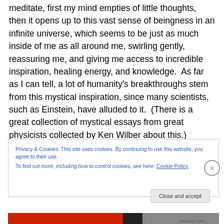meditate, first my mind empties of little thoughts, then it opens up to this vast sense of beingness in an infinite universe, which seems to be just as much inside of me as all around me, swirling gently, reassuring me, and giving me access to incredible inspiration, healing energy, and knowledge.  As far as I can tell, a lot of humanity's breakthroughs stem from this mystical inspiration, since many scientists, such as Einstein, have alluded to it.  (There is a great collection of mystical essays from great physicists collected by Ken Wilber about this.)
Privacy & Cookies: This site uses cookies. By continuing to use this website, you agree to their use.
To find out more, including how to control cookies, see here: Cookie Policy